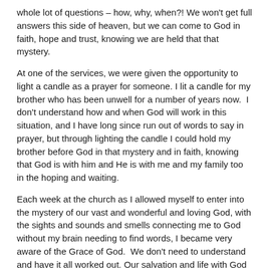whole lot of questions – how, why, when?! We won't get full answers this side of heaven, but we can come to God in faith, hope and trust, knowing we are held that that mystery.
At one of the services, we were given the opportunity to light a candle as a prayer for someone. I lit a candle for my brother who has been unwell for a number of years now.  I don't understand how and when God will work in this situation, and I have long since run out of words to say in prayer, but through lighting the candle I could hold my brother before God in that mystery and in faith, knowing that God is with him and He is with me and my family too in the hoping and waiting.
Each week at the church as I allowed myself to enter into the mystery of our vast and wonderful and loving God, with the sights and sounds and smells connecting me to God without my brain needing to find words, I became very aware of the Grace of God.  We don't need to understand and have it all worked out. Our salvation and life with God isn't dependent on us, it's dependent on Him.  As someone with a science background I like to know the answers, but when it comes to God, I'm learning to enjoy the relief of being held in the unknown.
Louise McFerran 19/01/2022